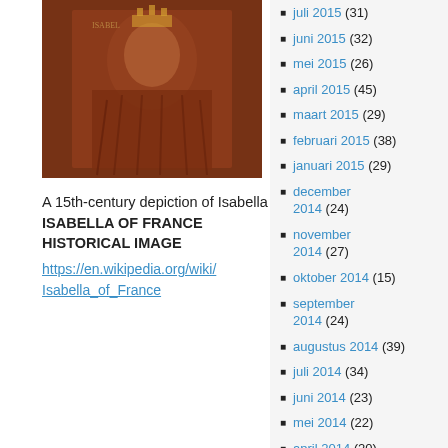[Figure (photo): A 15th-century historical painting/depiction of Isabella of France, showing a figure in reddish-brown robes.]
A 15th-century depiction of Isabella
ISABELLA OF FRANCE
HISTORICAL IMAGE
https://en.wikipedia.org/wiki/Isabella_of_France
juli 2015 (31)
juni 2015 (32)
mei 2015 (26)
april 2015 (45)
maart 2015 (29)
februari 2015 (38)
januari 2015 (29)
december 2014 (24)
november 2014 (27)
oktober 2014 (15)
september 2014 (24)
augustus 2014 (39)
juli 2014 (34)
juni 2014 (23)
mei 2014 (22)
april 2014 (20)
maart 2014 (33)